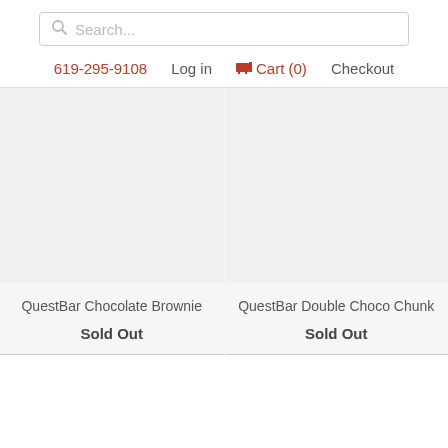Search...
619-295-9108  Log in  Cart (0)  Checkout
QuestBar Chocolate Brownie
Sold Out
QuestBar Double Choco Chunk
Sold Out